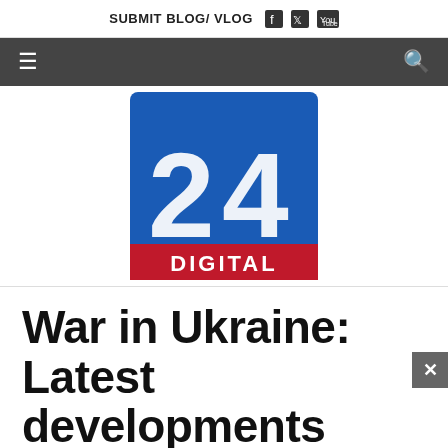SUBMIT BLOG/ VLOG
[Figure (logo): 24 Digital news logo — blue square with large silver '24' numeral and red 'DIGITAL' banner at bottom]
War in Ukraine: Latest developments
By: AFP
Published: 07:03 PM, 18 May, 2022